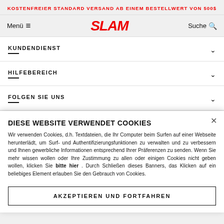KOSTENFREIER STANDARD VERSAND AB EINEM BESTELLWERT VON 500$
[Figure (logo): SLAM brand logo in red italic bold uppercase text]
KUNDENDIENST
HILFEBEREICH
FOLGEN SIE UNS
DIESE WEBSITE VERWENDET COOKIES
Wir verwenden Cookies, d.h. Textdateien, die Ihr Computer beim Surfen auf einer Webseite herunterlädt, um Surf- und Authentifizierungsfunktionen zu verwalten und zu verbessern und Ihnen gewerbliche Informationen entsprechend Ihrer Präferenzen zu senden. Wenn Sie mehr wissen wollen oder Ihre Zustimmung zu allen oder einigen Cookies nicht geben wollen, klicken Sie bitte hier . Durch Schließen dieses Banners, das Klicken auf ein beliebiges Element erlauben Sie den Gebrauch von Cookies.
AKZEPTIEREN UND FORTFAHREN